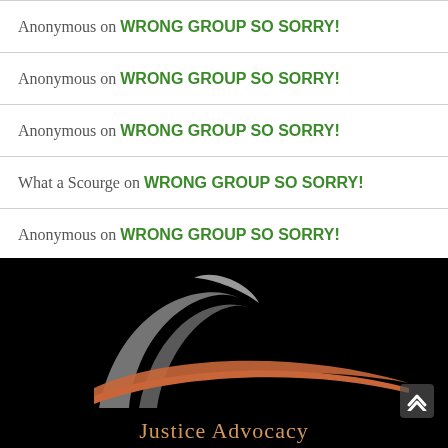Anonymous on WRONG GROUP SO SORRY!
Anonymous on WRONG GROUP SO SORRY!
Anonymous on WRONG GROUP SO SORRY!
What a Scourge on WRONG GROUP SO SORRY!
Anonymous on WRONG GROUP SO SORRY!
[Figure (logo): Justice Advocacy logo on black background: abstract swoosh design in grey and orange/copper tones with text 'Justice Advocacy' below]